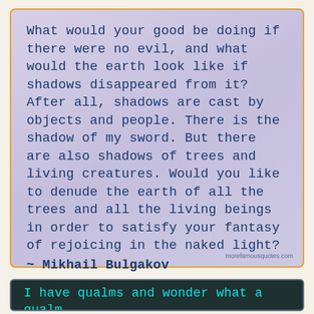[Figure (illustration): Quote card with lavender/purple gradient background and orange border containing a Mikhail Bulgakov quote in dark blue monospace font with watermark 'morefamousquotes.com']
[Figure (illustration): Quote card with dark teal background and gray border containing a partial quote in cyan monospace font]